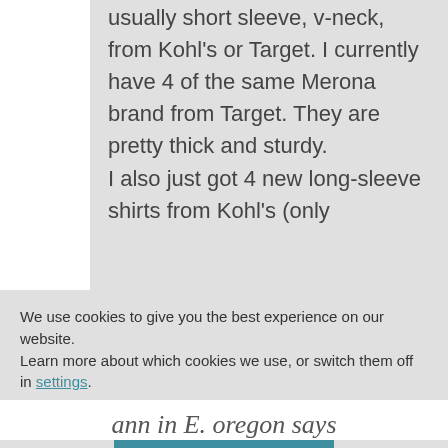usually short sleeve, v-neck, from Kohl's or Target. I currently have 4 of the same Merona brand from Target. They are pretty thick and sturdy.

I also just got 4 new long-sleeve shirts from Kohl's (only
We use cookies to give you the best experience on our website.
Learn more about which cookies we use, or switch them off in settings.
Accept
ann in E. oregon says